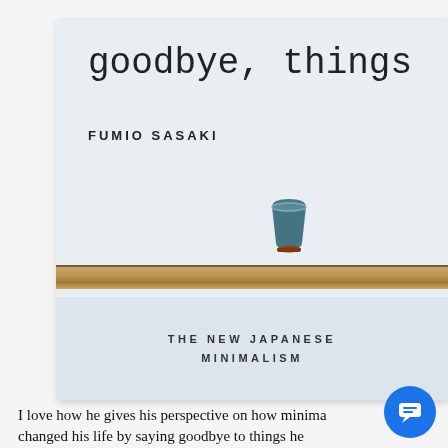[Figure (photo): Book cover of 'goodbye, things' by Fumio Sasaki, showing a single ceramic cup on a wooden shelf against a light background, with subtitle 'THE NEW JAPANESE MINIMALISM']
I love how he gives his perspective on how minima... changed his life by saying goodbye to things he...